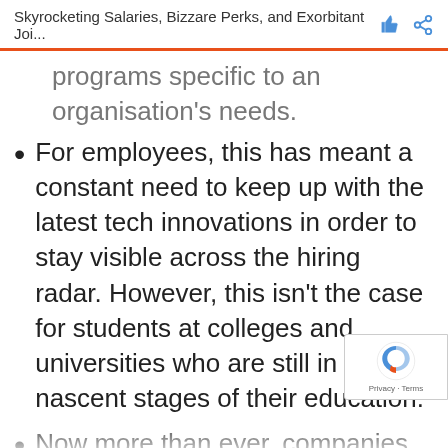Skyrocketing Salaries, Bizzare Perks, and Exorbitant Joi...
programs specific to an organisation's needs.
For employees, this has meant a constant need to keep up with the latest tech innovations in order to stay visible across the hiring radar. However, this isn't the case for students at colleges and universities who are still in the nascent stages of their education.
Now more than ever, companies are reluctant to hire college graduates and prefer industry-ready candidates. Hiring and training new talent means invest time, money, and resources with no guaranteed outcome of long-term